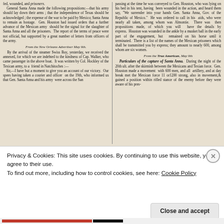fed, wounded, and prisoners. General Santa Anna made the following propositions:—that his army should lay down their arms; that the independence of Texas should be acknowledged; the expense of the war to be paid by Mexico; Santa Anna to remain as hostage. Gen. Houston had issued orders that a further advance of the Mexican army should be the signal for the slaughter of Santa Anna and all the prisoners. The report of the terms of peace were not official, but supported by a great number of letters from officers of the army.
From the New Orleans Advertiser May 9th.
By the arrival of the steamer Swiss Boy, yesterday, we received the annexed, for which we are indebted to the kindness of Cap. Walker, who came passenger in the above boat. It was written by Col. Hockley of the Texican army, to a friend in Natchitoches:— Sir,—I have but a moment to give you an account of our victory. Our spees having taken a courier and officer on the 19th, who informed us that Gen. Santa Anna and his army were across the San
passing at the time he was conveyed to Gen. Houston, who was lying on his bed in his tent, having been wounded in the action, and heard them say, "We surrender into your hands Gen. Santa Anna, Gov. of the Republic of Mexico." He was ordered to call in his aids, who were nearly all taken, among whom was Almontie. There was then propositions made, of which you will have the details by express. Houston was wounded in the ankle by a musket ball in the early part of the engagement, but remained on his horse until it terminated. There is a list of the names of the Mexican prisoners which shall be transmitted you by express; they amount to nearly 600, among whom are six women.
From the True American, May 9th
Particulars of the capture of Santa Anna. During the night of the 20th ult. after the skirmish between the Mexicans and Texian force. Gen. Houston made a movement with 600 men, and all artillery, and at day break met the Mexican force 11 or1200 strong, also in movement, & gained a position within rifled stance of the enemy before they were aware of his pres-
Privacy & Cookies: This site uses cookies. By continuing to use this website, you agree to their use.
To find out more, including how to control cookies, see here: Cookie Policy
Close and accept